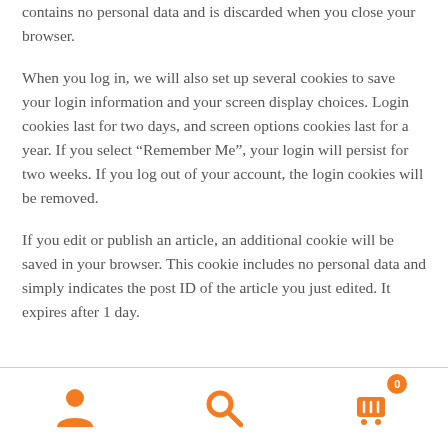contains no personal data and is discarded when you close your browser.
When you log in, we will also set up several cookies to save your login information and your screen display choices. Login cookies last for two days, and screen options cookies last for a year. If you select “Remember Me”, your login will persist for two weeks. If you log out of your account, the login cookies will be removed.
If you edit or publish an article, an additional cookie will be saved in your browser. This cookie includes no personal data and simply indicates the post ID of the article you just edited. It expires after 1 day.
[Figure (other): Footer navigation bar with three icons: user/account icon (person silhouette), search icon (magnifying glass), and cart icon with badge showing count 0]